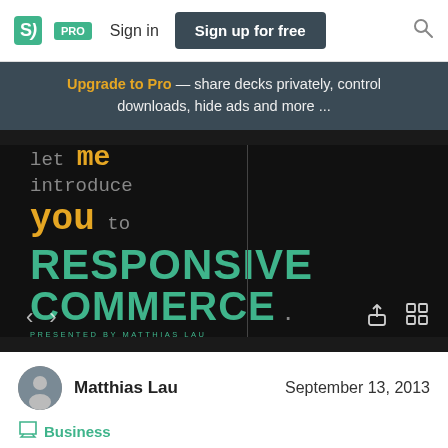SJ PRO  Sign in  Sign up for free
Upgrade to Pro — share decks privately, control downloads, hide ads and more ...
[Figure (screenshot): Slide preview showing text 'let me introduce you to RESPONSIVE COMMERCE .' presented by Matthias Lau, on dark background with teal and gold typography]
Matthias Lau    September 13, 2013
Business